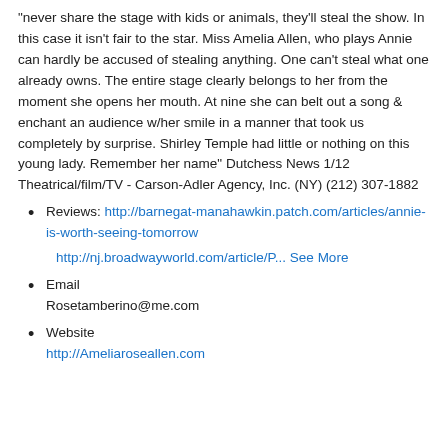"never share the stage with kids or animals, they'll steal the show. In this case it isn't fair to the star. Miss Amelia Allen, who plays Annie can hardly be accused of stealing anything. One can't steal what one already owns. The entire stage clearly belongs to her from the moment she opens her mouth. At nine she can belt out a song & enchant an audience w/her smile in a manner that took us completely by surprise. Shirley Temple had little or nothing on this young lady. Remember her name" Dutchess News 1/12 Theatrical/film/TV - Carson-Adler Agency, Inc. (NY) (212) 307-1882
Reviews: http://barnegat-manahawkin.patch.com/articles/annie-is-worth-seeing-tomorrow

http://nj.broadwayworld.com/article/P... See More
Email
Rosetamberino@me.com
Website
http://Ameliaroseallen.com